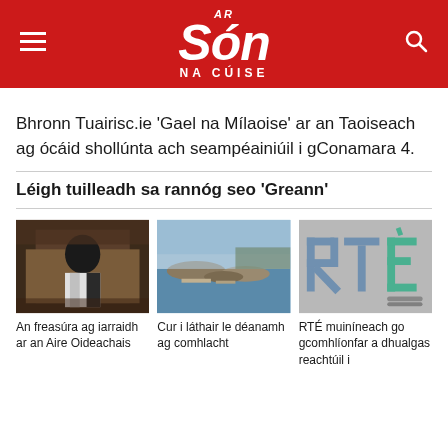Ar Són na Cúise
Bhronn Tuairisc.ie 'Gael na Mílaoise' ar an Taoiseach ag ócáid shollúnta ach seampéainiúil i gConamara 4.
Léigh tuilleadh sa rannóg seo 'Greann'
[Figure (photo): Woman speaking in what appears to be a parliament or government chamber setting]
An freasúra ag iarraidh ar an Aire Oideachais
[Figure (photo): Aerial view of a harbour or coastal area with islands and boats]
Cur i láthair le déanamh ag comhlacht
[Figure (photo): RTÉ logo sign on a building]
RTÉ muiníneach go gcomhlíonfar a dhualgasreachtúil i